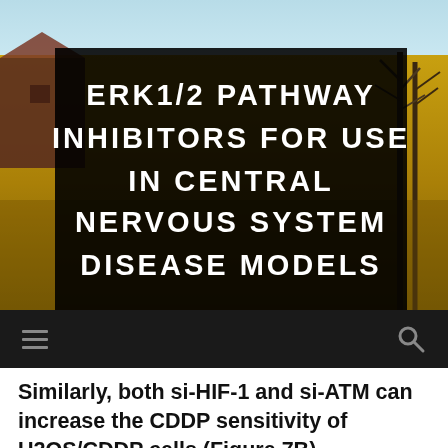[Figure (photo): Background photo of a rural farm field with golden grass, a red barn on the left, bare trees on the right, and a blue sky. Overlaid with a large black semi-transparent box containing white uppercase bold title text. Below the image is a dark navigation bar with a hamburger menu icon on the left and a search icon on the right.]
ERK1/2 PATHWAY INHIBITORS FOR USE IN CENTRAL NERVOUS SYSTEM DISEASE MODELS
Similarly, both si-HIF-1 and si-ATM can increase the CDDP sensitivity of U2OS/CDDP cells (Figure 7B)